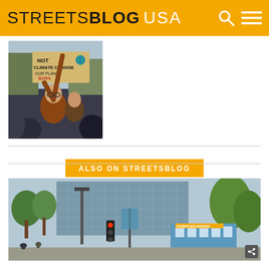STREETSBLOG USA
[Figure (photo): Climate protest photo showing young woman holding a sign reading 'NOT CLIMATE CHANGE OUR PLANET BURN']
ALSO ON STREETSBLOG
[Figure (photo): Urban street scene with a city bus, transit stop, trees, and a large glass office building in the background]